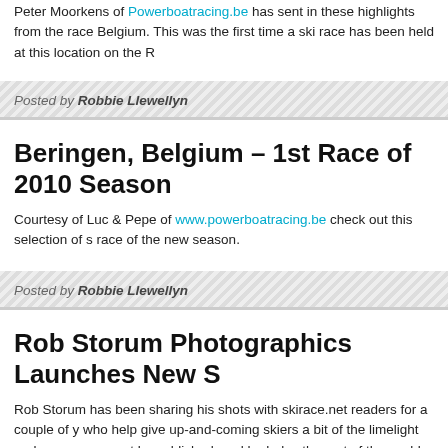Peter Moorkens of Powerboatracing.be has sent in these highlights from the race Belgium. This was the first time a ski race has been held at this location on the R
Posted by Robbie Llewellyn
Beringen, Belgium – 1st Race of 2010 Season
Courtesy of Luc & Pepe of www.powerboatracing.be check out this selection of s race of the new season.
Posted by Robbie Llewellyn
Rob Storum Photographics Launches New S
Rob Storum has been sharing his shots with skirace.net readers for a couple of y who help give up-and-coming skiers a bit of the limelight and encouragement by published, and he helps the rest of the world see what's happening in Australia th photography.
Rob has now launched a brand new web site where you can see all of his sensa www.robstorum.com.au